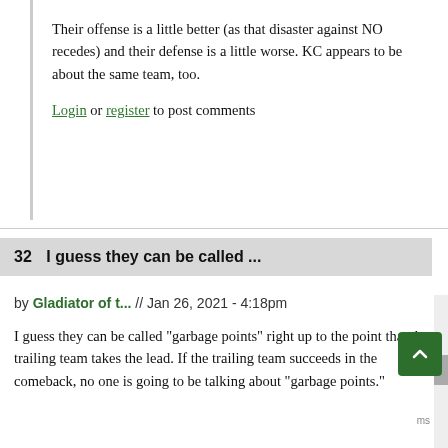Their offense is a little better (as that disaster against NO recedes) and their defense is a little worse. KC appears to be about the same team, too.
Login or register to post comments
32  I guess they can be called ...
by Gladiator of t... // Jan 26, 2021 - 4:18pm
I guess they can be called "garbage points" right up to the point that the trailing team takes the lead. If the trailing team succeeds in the comeback, no one is going to be talking about "garbage points."